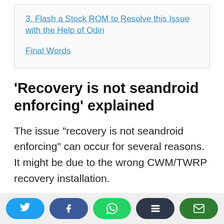3. Flash a Stock ROM to Resolve this Issue with the Help of Odin
Final Words
‘Recovery is not seandroid enforcing’ explained
The issue “recovery is not seandroid enforcing” can occur for several reasons. It might be due to the wrong CWM/TWRP recovery installation.
[Figure (other): Social share bar with Twitter, Facebook, WhatsApp, Buffer, and Email buttons]